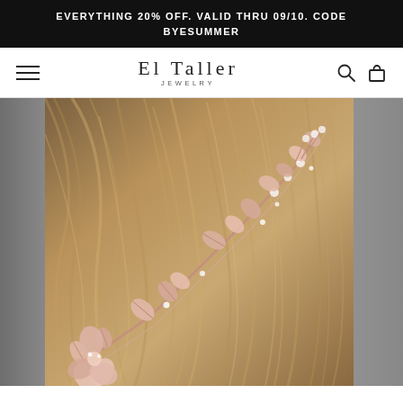EVERYTHING 20% OFF. VALID THRU 09/10. CODE BYESUMMER
EL TALLER JEWELRY
[Figure (photo): Close-up photo of a woman's hair with an intricate rose gold floral and leaf hair vine jewelry piece adorned with pearls and crystals/rhinestones, against a blurred gray background on both sides.]